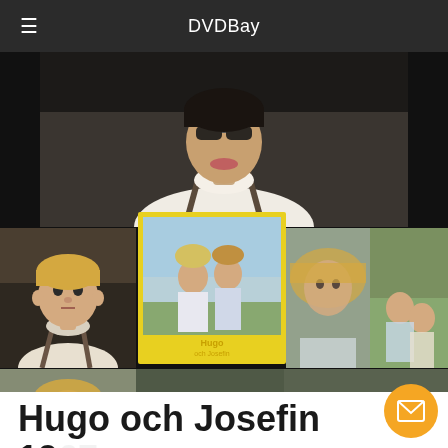DVDBay
[Figure (photo): Movie collage for Hugo och Josefin 1967 – multiple scenes showing children actors: large top image of a dark-haired boy looking up, smaller images of a blond boy, two children on a movie poster/card, a girl with blond hair, two children wrestling on grass, a blond boy close-up, two children seated outdoors with subtitle text, and two children interacting outdoors.]
Hugo och Josefin 1967 with English Subtitles